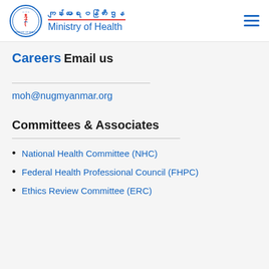ကျန်းမာရေးဝန်ကြီးဌာန Ministry of Health
Careers
Email us
moh@nugmyanmar.org
Committees & Associates
National Health Committee (NHC)
Federal Health Professional Council (FHPC)
Ethics Review Committee (ERC)